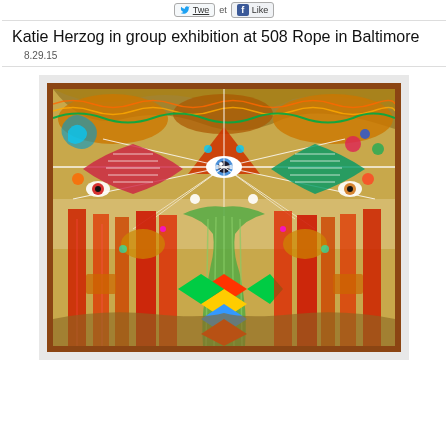Tweet  Like
Katie Herzog in group exhibition at 508 Rope in Baltimore
8.29.15
[Figure (photo): A colorful, densely detailed mixed-media artwork displayed in a wooden frame against a white background. The painting features a central eye motif at the top center with radiating lines and a triangular form, surrounded by intricate patterns including swirling shapes, vertical stripe-like forms, checkered patterns in red, yellow, green and blue, and various abstract mythological-looking figures and symbols covering the entire canvas.]